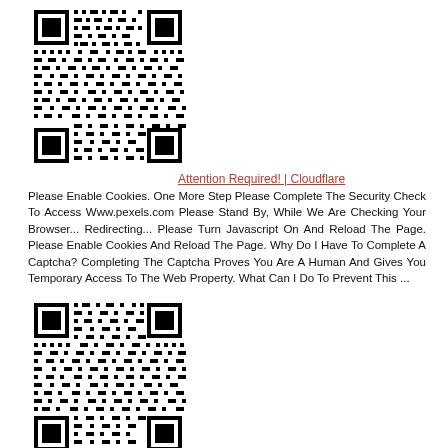[Figure (other): QR code image (black and white matrix barcode)]
Attention Required! | Cloudflare
Please Enable Cookies. One More Step Please Complete The Security Check To Access Www.pexels.com Please Stand By, While We Are Checking Your Browser... Redirecting... Please Turn Javascript On And Reload The Page. Please Enable Cookies And Reload The Page. Why Do I Have To Complete A Captcha? Completing The Captcha Proves You Are A Human And Gives You Temporary Access To The Web Property. What Can I Do To Prevent This ...
[Figure (other): QR code image (black and white matrix barcode)]
Attention Required! | Cloudflare
Please Enable Cookies. One More Step Please Complete The Security Check To Access Www.pexels.com Please Stand By, While We Are Checking Your Browser... Redirecting... Please Turn Javascript On And Reload The Page. Please Enable Cookies And Reload The Page. Why Do I Have To Complete A Captcha? Completing The Captcha Proves You Are A Human And Gives You Temporary Access To The Web Property. What Can I Do To Prevent This...